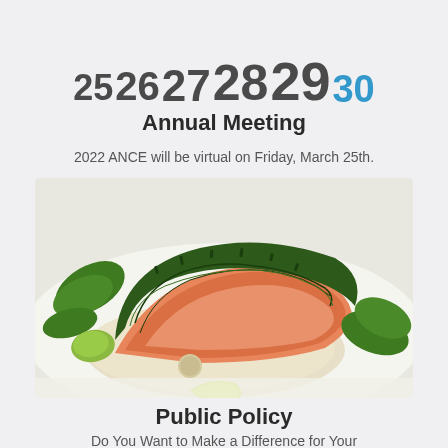[Figure (other): Calendar strip showing dates 25, 26, 27, 28, 29, 30 with increasing font sizes; 30 shown in blue]
Annual Meeting
2022 ANCE will be virtual on Friday, March 25th.
[Figure (photo): A herb-crusted salmon fillet served on mashed potatoes with fresh basil leaves and lime wedge]
Public Policy
Do You Want to Make a Difference for Your